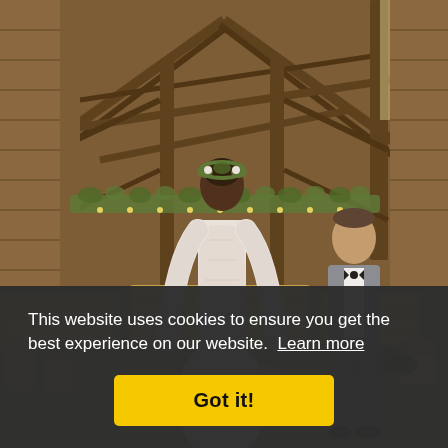[Figure (photo): A bride in a white lace long-sleeve dress with a floral crown walks toward a groom in a grey suit with bow tie, inside a rustic wooden barn decorated with greenery and string lights. Hay bales and wooden chairs are visible.]
This website uses cookies to ensure you get the best experience on our website. Learn more